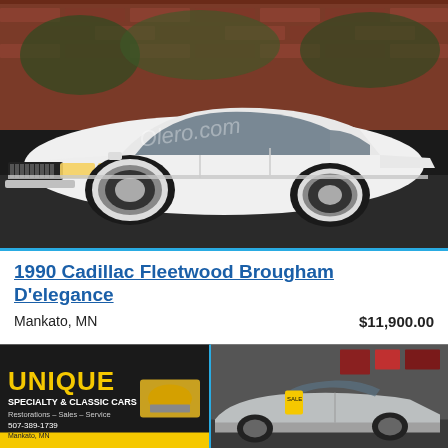[Figure (photo): White 1990 Cadillac Fleetwood Brougham D'elegance parked outdoors in front of a brick wall, front 3/4 view, with headlights on. Watermark 'Olero.com' visible on image.]
1990 Cadillac Fleetwood Brougham D'elegance
Mankato, MN
$11,900.00
[Figure (photo): Interior/lot photo of Unique Specialty & Classic Cars dealership in Mankato, MN showing signage and a Cadillac on the lot. Sign reads: UNIQUE SPECIALTY & CLASSIC CARS, Restorations - Sales - Service, 507-389-1739, Mankato, MN, UNIQUECLASSICCARS.COM]